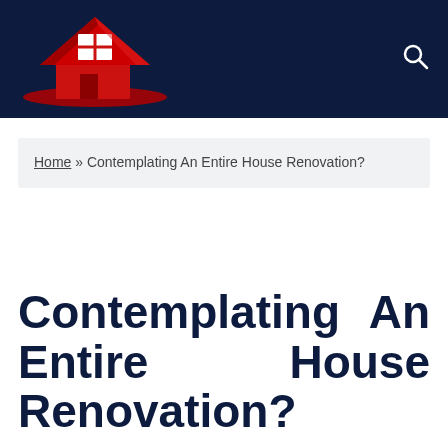[Figure (logo): Red 3D house icon with white window on dark navy header background with search icon]
Home » Contemplating An Entire House Renovation?
Contemplating An Entire House Renovation?